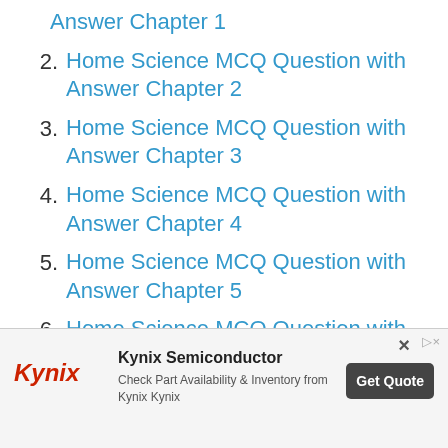Answer Chapter 1
2. Home Science MCQ Question with Answer Chapter 2
3. Home Science MCQ Question with Answer Chapter 3
4. Home Science MCQ Question with Answer Chapter 4
5. Home Science MCQ Question with Answer Chapter 5
6. Home Science MCQ Question with (partially visible)
[Figure (other): Kynix Semiconductor advertisement banner with logo, description 'Check Part Availability & Inventory from Kynix Kynix', and 'Get Quote' button]